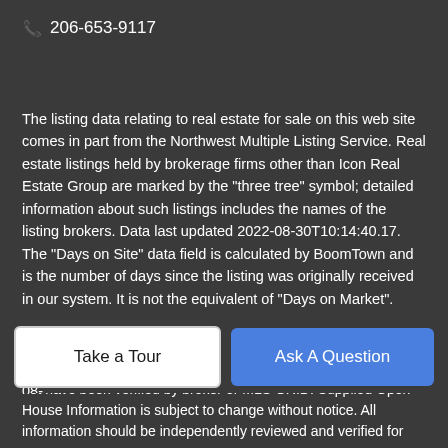📞 206-653-9117
The listing data relating to real estate for sale on this web site comes in part from the Northwest Multiple Listing Service. Real estate listings held by brokerage firms other than Icon Real Estate Group are marked by the "three tree" symbol; detailed information about such listings includes the names of the listing brokers. Data last updated 2022-08-30T10:14:40.17. The "Days on Site" data field is calculated by BoomTown and is the number of days since the listing was originally received in our system. It is not the equivalent of "Days on Market".
Based on information submitted to the MLS GRID as of 2022-08-30T10:14:40.17. All data is obtained from various sources and may not have been verified by broker or MLS GRID. Supplied Open House Information is subject to change without notice. All information should be independently reviewed and verified for accuracy.
Take a Tour
Ask A Question